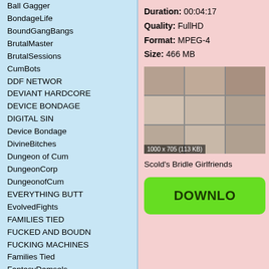Ball Gagger
BondageLife
BoundGangBangs
BrutalMaster
BrutalSessions
CumBots
DDF NETWOR
DEVIANT HARDCORE
DEVICE BONDAGE
DIGITAL SIN
Device Bondage
DivineBitches
Dungeon of Cum
DungeonCorp
DungeonofCum
EVERYTHING BUTT
EvolvedFights
FAMILIES TIED
FUCKED AND BOUDN
FUCKING MACHINES
Families Tied
FantasyDamsels
FuckingDungeon
HARDTIED
Duration: 00:04:17
Quality: FullHD
Format: MPEG-4
Size: 466 MB
[Figure (photo): Video thumbnail grid showing 9 frames, labeled 1000 x 705 (113 KB)]
Scold's Bridle Girlfriends
DOWNLO...